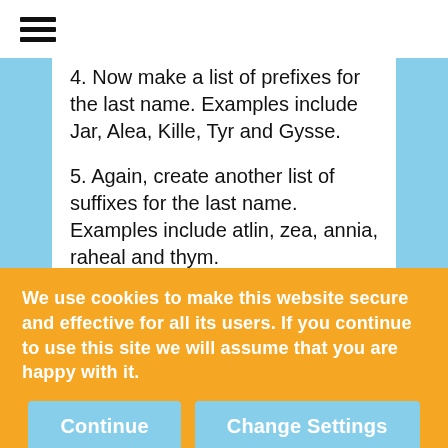≡ (hamburger menu)
4. Now make a list of prefixes for the last name. Examples include Jar, Alea, Kille, Tyr and Gysse.
5. Again, create another list of suffixes for the last name. Examples include atlin, zea, annia, raheal and thym.
6. Combine...
We use cookies to make this website secure and effective for all its users. If you continue to use this site we will assume that you are happy with it.
Continue | Change Settings
title, and decide which elf grouping she belongs to. Here is a list of possible female